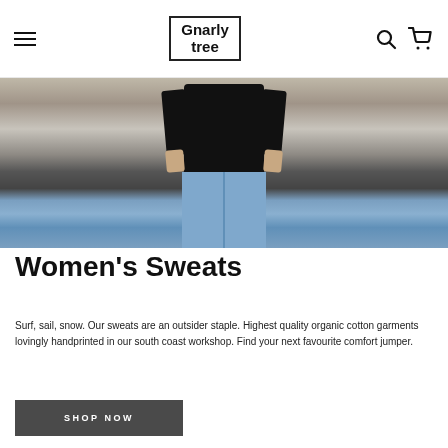Gnarly Tree — navigation header with hamburger menu, logo, search and cart icons
[Figure (photo): Person wearing a dark navy sweatshirt and light blue jeans, standing in front of a weathered stone wall with a white wooden beam]
Women's Sweats
Surf, sail, snow. Our sweats are an outsider staple. Highest quality organic cotton garments lovingly handprinted in our south coast workshop. Find your next favourite comfort jumper.
SHOP NOW